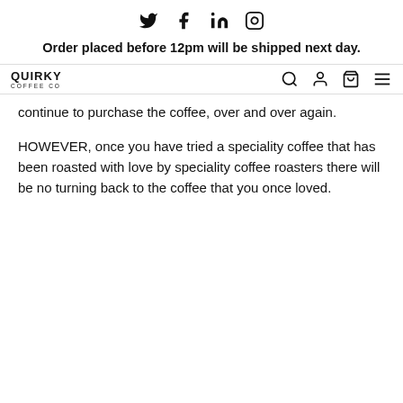Social icons: Twitter, Facebook, LinkedIn, Instagram
Order placed before 12pm will be shipped next day.
Quirky Coffee Co — navigation bar with search, account, cart, menu icons
continue to purchase the coffee, over and over again.
HOWEVER, once you have tried a speciality coffee that has been roasted with love by speciality coffee roasters there will be no turning back to the coffee that you once loved.